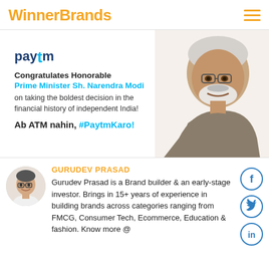WinnerBrands
[Figure (screenshot): Paytm advertisement congratulating Honorable Prime Minister Sh. Narendra Modi on demonetization, with the slogan 'Ab ATM nahin, #PaytmKaro!' and an image of Narendra Modi on the right side]
[Figure (photo): Circular avatar photo of Gurudev Prasad, a man with glasses]
GURUDEV PRASAD
Gurudev Prasad is a Brand builder & an early-stage investor. Brings in 15+ years of experience in building brands across categories ranging from FMCG, Consumer Tech, Ecommerce, Education & fashion. Know more @
[Figure (other): Three circular social media icons: Facebook (f), Twitter (bird), LinkedIn (in)]